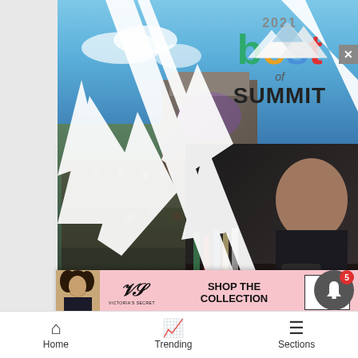[Figure (photo): 2021 Best of Summit promotional image showing a crowd at an outdoor concert/event near a lake with mountains in the background, and a bartender/tattooist on the right side. Features white jagged mountain silhouette overlays and the '2021 best of SUMMIT' logo in colorful text.]
[Figure (photo): Victoria's Secret advertisement banner with pink background showing a woman model, VS logo, text 'SHOP THE COLLECTION' and a 'SHOP NOW' button.]
Home
Trending
Sections